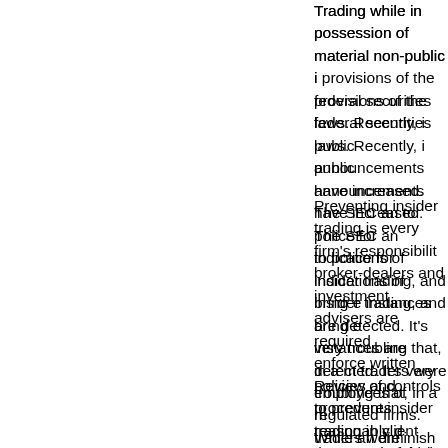Trading while in possession of material non-public information violates provisions of the federal securities laws. Recently, instances of trading before public announcements have increased. The SEC and FINRA actively monitor markets to police for indications of insider trading, and bring enforcement actions when instances are detected. It's very troubling that, in a number of cases, the traders were employees of regulated firms. While any insider trading case can diminish the faith that investors have in the fairness of markets, insider trading by a securities professional represents the potential for a serious conflict. And the damage to a firm's reputation can be lasting.
Preventing insider trading is every firm's responsibility. By law, registered broker-dealers and investment advisers are required to establish, maintain and enforce written policies and procedures reasonably designed, taking into consideration the nature of their business, to prevent the misuse of material non-public information by the registered entity or its associated persons (under Advisers Act Section 204A and Exchange Act Section 15(f)).
Review of controls to prevent insider trading in client accounts and proprietary accounts is a high priority area in SEC examinations of broker-dealers, investment dealers, advisers and funds. Generally, the focus of examinations is whether a firm has identified the source and type of non-public information the firm or its personnel may be privy to, whether the firm has crafted and implemented procedures designed to maintain the confidentiality of that information, and whether it follows those procedures. We're also interested in understanding how the firm tests whether those procedures are working, and what kind of testing is performed. Examinations will seek to understand the firm's own compliance and surveillance activities with respect to insider trading, and will probe more deeply if there appear to be gaps in those programs.
Some issues that exist here are whether firms have f